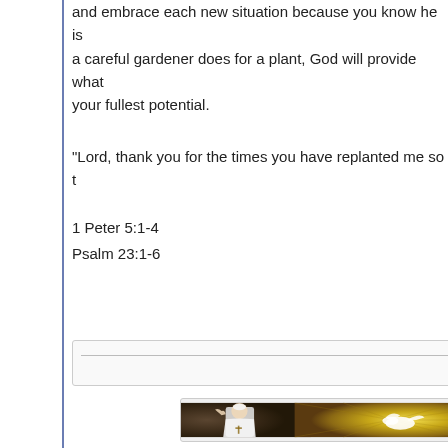and embrace each new situation because you know he is a careful gardener does for a plant, God will provide what your fullest potential.
"Lord, thank you for the times you have replanted me so t
1 Peter 5:1-4
Psalm 23:1-6
[Figure (photo): Photo of Pope Francis in white robes and cross, waving, in front of a stained glass window depicting a dove (Holy Spirit) with radiant golden light.]